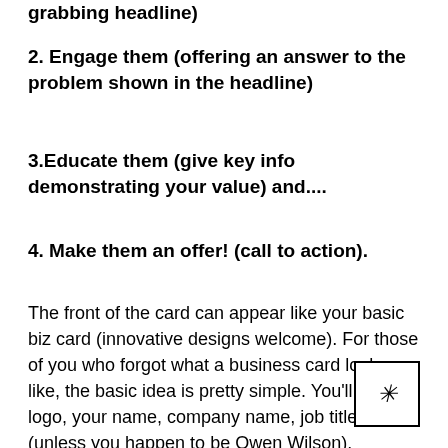grabbing headline)
2. Engage them (offering an answer to the problem shown in the headline)
3.Educate them (give key info demonstrating your value) and....
4. Make them an offer! (call to action).
The front of the card can appear like your basic biz card (innovative designs welcome). For those of you who forgot what a business card looks like, the basic idea is pretty simple. You’ll have a logo, your name, company name, job title, etc (unless you happen to be Owen Wilson).